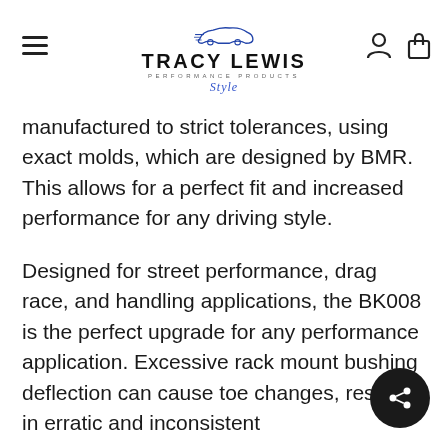Tracy Lewis Performance Products
manufactured to strict tolerances, using exact molds, which are designed by BMR. This allows for a perfect fit and increased performance for any driving style.
Designed for street performance, drag race, and handling applications, the BK008 is the perfect upgrade for any performance application. Excessive rack mount bushing deflection can cause toe changes, resulting in erratic and inconsistent